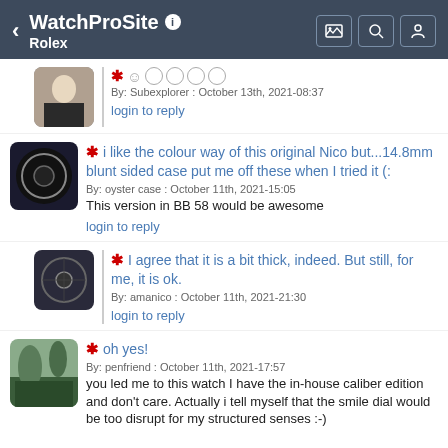WatchProSite — Rolex
* ☺ ◌ ◌ ◌ ◌
By: Subexplorer : October 13th, 2021-08:37
login to reply
* i like the colour way of this original Nico but...14.8mm blunt sided case put me off these when I tried it (:
By: oyster case : October 11th, 2021-15:05
This version in BB 58 would be awesome
login to reply
* I agree that it is a bit thick, indeed. But still, for me, it is ok.
By: amanico : October 11th, 2021-21:30
login to reply
* oh yes!
By: penfriend : October 11th, 2021-17:57
you led me to this watch I have the in-house caliber edition and don't care. Actually i tell myself that the smile dial would be too disrupt for my structured senses :-)